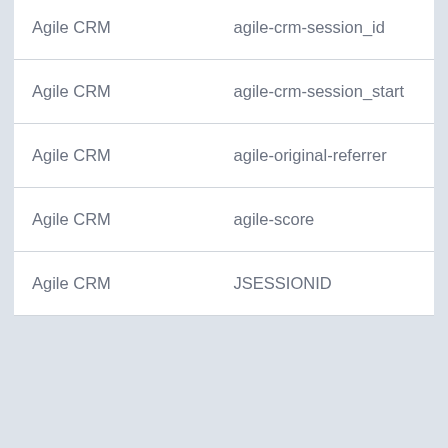| Provider | Cookie Name |
| --- | --- |
| Agile CRM | agile-crm-session_id |
| Agile CRM | agile-crm-session_start |
| Agile CRM | agile-original-referrer |
| Agile CRM | agile-score |
| Agile CRM | JSESSIONID |